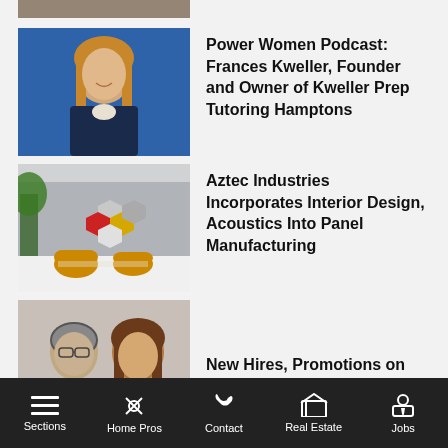[Figure (photo): Partial top strip of a person photo cropped at top]
[Figure (photo): Professional headshot of a woman with long blonde hair in a dark blazer against a blue background]
Power Women Podcast: Frances Kweller, Founder and Owner of Kweller Prep Tutoring Hamptons
[Figure (photo): Interior design room with colorful hexagonal acoustic panels on a gray wall, orange chairs, and a plant]
Aztec Industries Incorporates Interior Design, Acoustics Into Panel Manufacturing
[Figure (photo): Two people in professional attire, a man in glasses and a woman with brown hair, partially cropped]
New Hires, Promotions on
Sections  Home Pros  Contact  Real Estate  Jobs